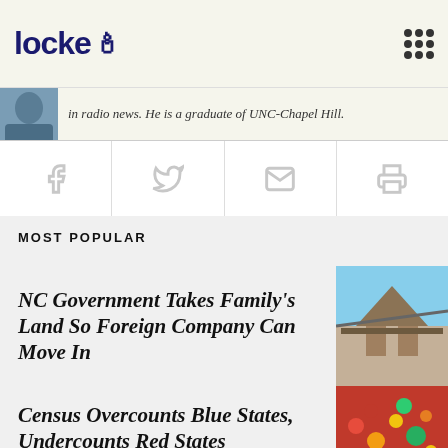locke
in radio news. He is a graduate of UNC-Chapel Hill.
[Figure (other): Social share bar with Facebook, Twitter, email, and print icons]
MOST POPULAR
NC Government Takes Family's Land So Foreign Company Can Move In
[Figure (photo): Photo of a building being demolished]
Census Overcounts Blue States, Undercounts Red States
[Figure (photo): Photo of a large crowd of people]